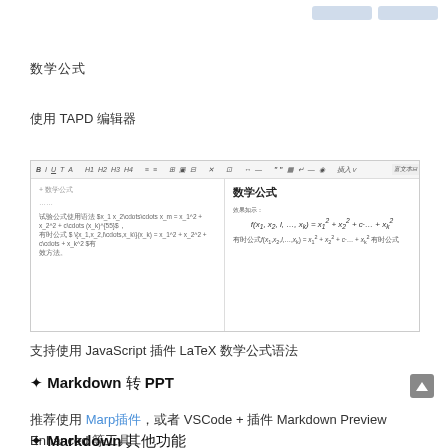数学公式
使用 TAPD 编辑器
[Figure (screenshot): Screenshot of TAPD editor showing math formula editing with LaTeX syntax on the left pane and rendered math formula on the right pane, displaying f(x1,x2,l,...,xk) = x1^2 + x2^2 + c·...+ xk^2]
支持使用 JavaScript 插件 LaTeX 数学公式语法
✦ Markdown 转 PPT
推荐使用 Marp插件，或者 VSCode + 插件 Markdown Preview Enhanced 等工具
✦ Markdown 其他功能